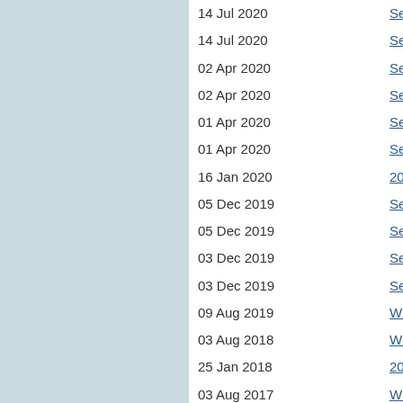14 Jul 2020 | Septic Waste Disposal Me
14 Jul 2020 | Septic Waste Disposal Me
02 Apr 2020 | Septic Waste Disposal Me
02 Apr 2020 | Septic Waste Disposal Me
01 Apr 2020 | Septic Waste Disposal Me
01 Apr 2020 | Septic Waste Disposal Me
16 Jan 2020 | 2020 WLWCA/WOWRA J
05 Dec 2019 | Septic Waste Disposal Me
05 Dec 2019 | Septic Waste Disposal Me
03 Dec 2019 | Septic Waste Disposal Me
03 Dec 2019 | Septic Waste Disposal Me
09 Aug 2019 | WLWCA 2019 Summer C
03 Aug 2018 | WLWCA 2018 Summer C
25 Jan 2018 | 2018 WLWCA/WOWRA J
03 Aug 2017 | WLWCA 2017 Summer C
12 Jan 2017 | 2017 WLWCA/WOWRA J
12 Jan 2017 | 2017 WLWCA/WOWRA J Registration